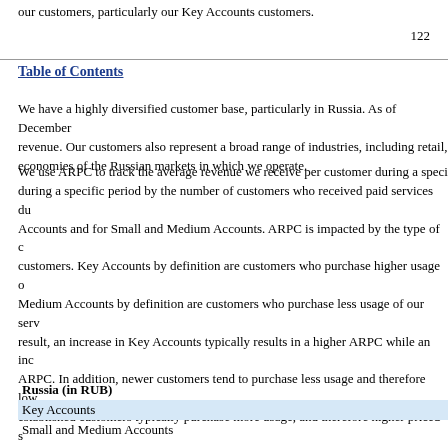our customers, particularly our Key Accounts customers.
122
Table of Contents
We have a highly diversified customer base, particularly in Russia. As of December revenue. Our customers also represent a broad range of industries, including retail, economies of the Russian markets in which we operate.
We use ARPC to track the average revenue we receive per customer during a specific period by the number of customers who received paid services during a specific period. ARPC is calculated separately for Key Accounts and for Small and Medium Accounts. ARPC is impacted by the type of customers. Key Accounts by definition are customers who purchase higher usage of our services. Small and Medium Accounts by definition are customers who purchase less usage of our services. As a result, an increase in Key Accounts typically results in a higher ARPC while an increase in Small and Medium Accounts results in a lower ARPC. In addition, newer customers tend to purchase less usage and therefore lower priced service packages, while more established customers typically purchase more usage, and therefore higher priced service packages. The following table shows a breakdown of our ARPC by customer size:
| Russia (in RUB) |  |
| --- | --- |
| Key Accounts |  |
| Small and Medium Accounts |  |